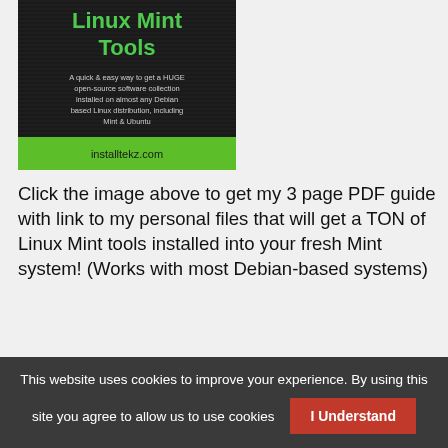[Figure (illustration): Book cover for 'Linux Mint Tools' showing title in green text on dark background with subtitle text and installtekz.com at bottom on green bar]
Click the image above to get my 3 page PDF guide with link to my personal files that will get a TON of Linux Mint tools installed into your fresh Mint system! (Works with most Debian-based systems)
Beginner's Tools & Equipment
This website uses cookies to improve your experience. By using this site you agree to allow us to use cookies